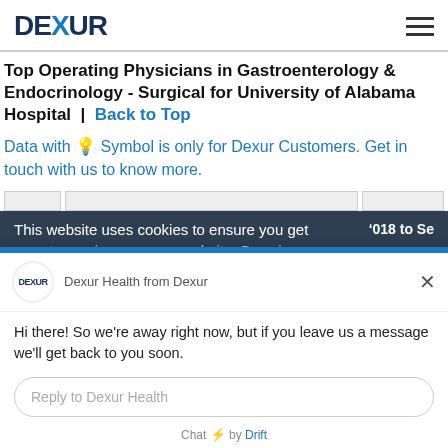DEXUR
Top Operating Physicians in Gastroenterology & Endocrinology - Surgical for University of Alabama Hospital  |  Back to Top
Data with 💡 Symbol is only for Dexur Customers. Get in touch with us to know more.
This website uses cookies to ensure you get [best] experience on our website. By using...
Dexur Health from Dexur
Hi there! So we're away right now, but if you leave us a message we'll get back to you soon.
Reply to Dexur Health
Chat ⚡ by Drift